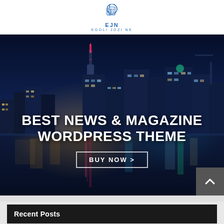[Figure (logo): EJN Egoli Jozi NE logo — blue building/city icon above text 'EJN' and 'EGOLI JOZI NE']
[Figure (photo): Nighttime city skyline (Toronto) reflected in water, with illuminated skyscrapers and a tall tower with red tip. Overlaid with large white bold text: 'BEST NEWS & MAGAZINE WORDPRESS THEME' and a 'BUY NOW >' button.]
BEST NEWS & MAGAZINE WORDPRESS THEME
BUY NOW >
Recent Posts